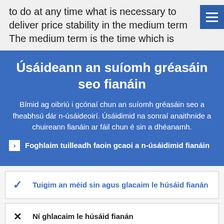to do at any time what is necessary to deliver price stability in the medium term The medium term is the time which is
Úsáideann an suíomh gréasáin seo fianáin
Bímid ag oibriú i gcónaí chun an suíomh gréasáin seo a fheabhsú dár n-úsáideoirí. Úsáidimid na sonraí anaithnide a chuireann fianáin ar fáil chun é sin a dhéanamh.
Foghlaim tuilleadh faoin gcaoi a n-úsáidimid fianáin
Tuigim an méid sin agus glacaim le húsáid fianán
Ní ghlacaim le húsáid fianán